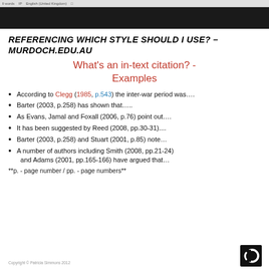REFERENCING WHICH STYLE SHOULD I USE? - MURDOCH.EDU.AU
What's an in-text citation? - Examples
According to Clegg (1985, p.543) the inter-war period was….
Barter (2003, p.258) has shown that…..
As Evans, Jamal and Foxall (2006, p.76) point out….
It has been suggested by Reed (2008, pp.30-31)....
Barter (2003, p.258) and Stuart (2001, p.85) note…
A number of authors including Smith (2008, pp.21-24) and Adams (2001, pp.165-166) have argued that…
**p. - page number / pp. - page numbers**
Copyright © Patricia Simmons 2012